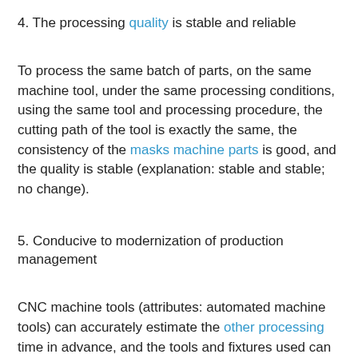4. The processing quality is stable and reliable
To process the same batch of parts, on the same machine tool, under the same processing conditions, using the same tool and processing procedure, the cutting path of the tool is exactly the same, the consistency of the masks machine parts is good, and the quality is stable (explanation: stable and stable; no change).
5. Conducive to modernization of production management
CNC machine tools (attributes: automated machine tools) can accurately estimate the other processing time in advance, and the tools and fixtures used can be standardized and modernized. Numerical control machine tools use digital signals and standard codes as control information, which is easy to realize the standardization of